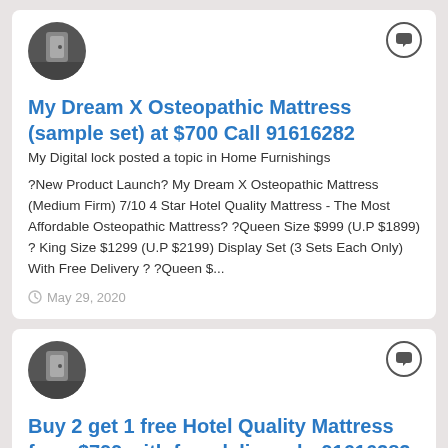[Figure (photo): Avatar photo showing a door lock, circular crop, dark background]
My Dream X Osteopathic Mattress (sample set) at $700 Call 91616282
My Digital lock posted a topic in Home Furnishings
?New Product Launch? My Dream X Osteopathic Mattress (Medium Firm) 7/10 4 Star Hotel Quality Mattress - The Most Affordable Osteopathic Mattress? ?Queen Size $999 (U.P $1899) ? King Size $1299 (U.P $2199) Display Set (3 Sets Each Only) With Free Delivery ? ?Queen $...
May 29, 2020
[Figure (photo): Avatar photo showing a door lock, circular crop, dark background]
Buy 2 get 1 free Hotel Quality Mattress from $799 with free delivery hp91616282
My Digital lock p... gs
[Figure (other): HIRE A DESIGNER orange pill-shaped banner with close button]